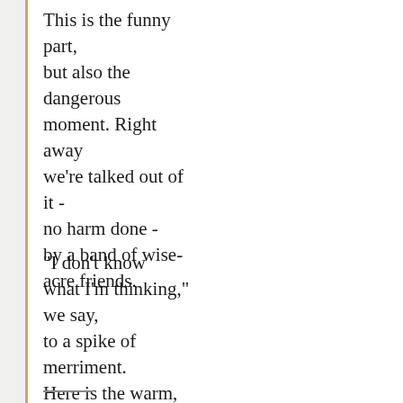This is the funny part,
but also the
dangerous
moment. Right away
we're talked out of it -
no harm done -
by a band of wise-
acre friends.
"I don't know
what I'm thinking,"
we say,
to a spike of
merriment.
Here is the warm,
human part
which dissipates
tension.
___